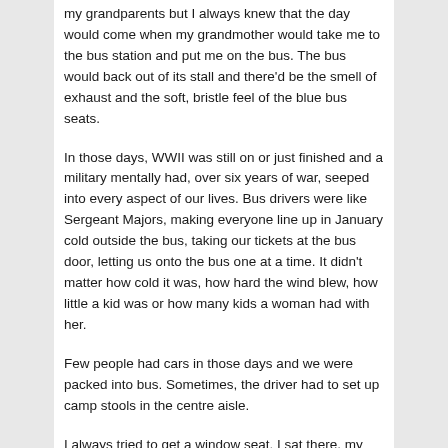my grandparents but I always knew that the day would come when my grandmother would take me to the bus station and put me on the bus. The bus would back out of its stall and there'd be the smell of exhaust and the soft, bristle feel of the blue bus seats.
In those days, WWII was still on or just finished and a military mentally had, over six years of war, seeped into every aspect of our lives. Bus drivers were like Sergeant Majors, making everyone line up in January cold outside the bus, taking our tickets at the bus door, letting us onto the bus one at a time. It didn't matter how cold it was, how hard the wind blew, how little a kid was or how many kids a woman had with her.
Few people had cars in those days and we were packed into bus. Sometimes, the driver had to set up camp stools in the centre aisle.
I always tried to get a window seat. I sat there, my nose pressed to the cold glass, my breath frosting the glass,